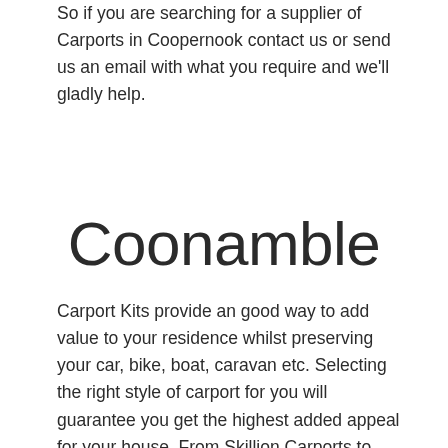So if you are searching for a supplier of Carports in Coopernook contact us or send us an email with what you require and we'll gladly help.
Coonamble
Carport Kits provide an good way to add value to your residence whilst preserving your car, bike, boat, caravan etc. Selecting the right style of carport for you will guarantee you get the highest added appeal for your house. From Skillion Carports to Gable, Dutch Gable and Hip Roof Carports, there are carport designs